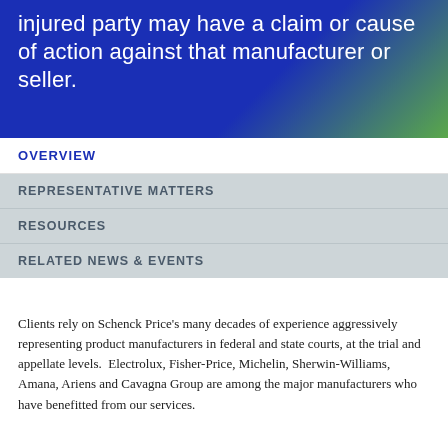injured party may have a claim or cause of action against that manufacturer or seller.
OVERVIEW
REPRESENTATIVE MATTERS
RESOURCES
RELATED NEWS & EVENTS
Clients rely on Schenck Price’s many decades of experience aggressively representing product manufacturers in federal and state courts, at the trial and appellate levels.  Electrolux, Fisher-Price, Michelin, Sherwin-Williams, Amana, Ariens and Cavagna Group are among the major manufacturers who have benefitted from our services.